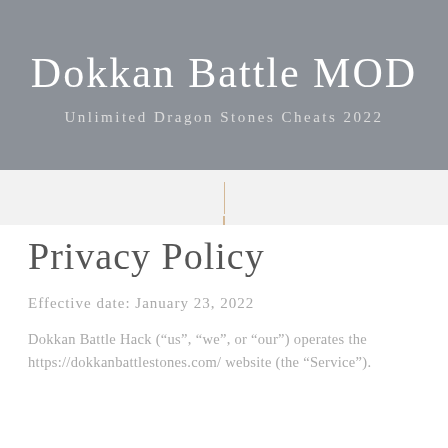Dokkan Battle MOD
Unlimited Dragon Stones Cheats 2022
Privacy Policy
Effective date: January 23, 2022
Dokkan Battle Hack (“us”, “we”, or “our”) operates the https://dokkanbattlestones.com/ website (the “Service”).